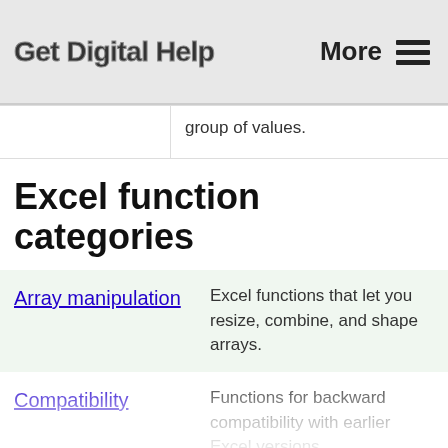Get Digital Help   More ☰
group of values.
Excel function categories
| Category | Description |
| --- | --- |
| Array manipulation | Excel functions that let you resize, combine, and shape arrays. |
| Compatibility | Functions for backward compatibility with earlier Excel versions. Compatibility functions are replaced with newer functions with improved |